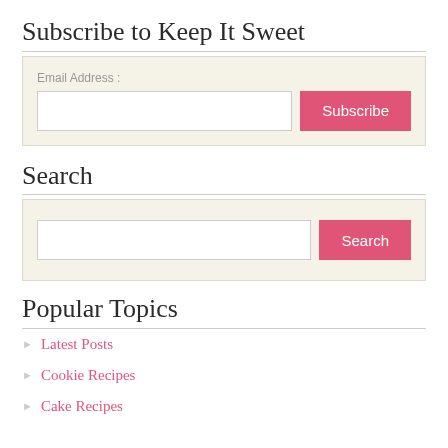Subscribe to Keep It Sweet
Email Address :
Search
Popular Topics
Latest Posts
Cookie Recipes
Cake Recipes